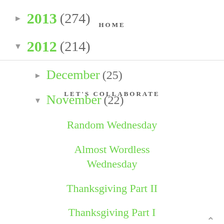▶ 2013 (274)
HOME
▼ 2012 (214)
LET'S COLLABORATE
▶ December (25)
▼ November (22)
Random Wednesday
Almost Wordless Wednesday
Thanksgiving Part II
Thanksgiving Part I
Black Fri...